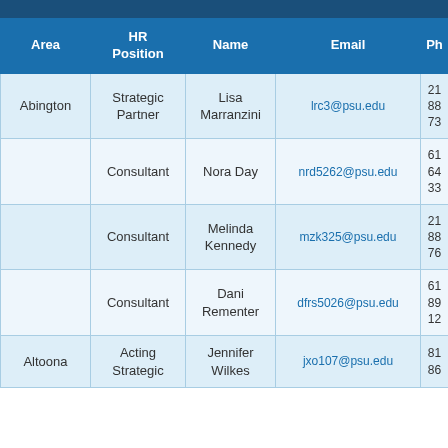| Area | HR Position | Name | Email | Ph |
| --- | --- | --- | --- | --- |
| Abington | Strategic Partner | Lisa Marranzini | lrc3@psu.edu | 21 88 73 |
|  | Consultant | Nora Day | nrd5262@psu.edu | 61 64 33 |
|  | Consultant | Melinda Kennedy | mzk325@psu.edu | 21 88 76 |
|  | Consultant | Dani Rementer | dfrs5026@psu.edu | 61 89 12 |
| Altoona | Acting Strategic | Jennifer Wilkes | jxo107@psu.edu | 81 86 |